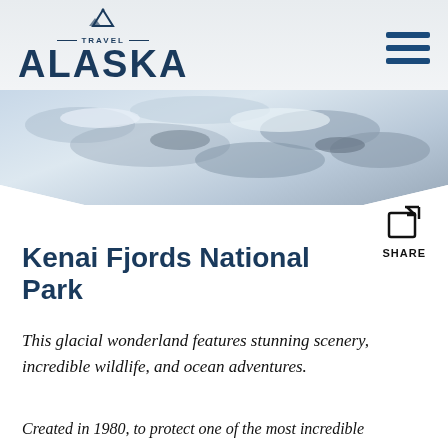[Figure (logo): Travel Alaska logo with mountain icon, 'TRAVEL' text with decorative lines, and 'ALASKA' in large bold letters]
[Figure (screenshot): Hamburger/navigation menu icon with three horizontal dark blue bars]
[Figure (photo): Hero image of glacial scenery — snow, ice, rocky terrain — framed in a downward-pointing chevron/triangle shape]
[Figure (illustration): Share icon — box with arrow pointing upper right, labeled SHARE]
Kenai Fjords National Park
This glacial wonderland features stunning scenery, incredible wildlife, and ocean adventures.
Created in 1980, to protect one of the most incredible